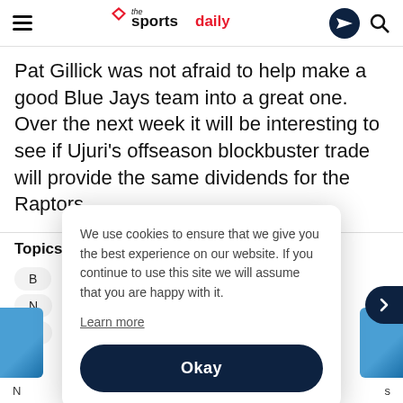the sportsdaily
Pat Gillick was not afraid to help make a good Blue Jays team into a great one. Over the next week it will be interesting to see if Ujuri’s offseason blockbuster trade will provide the same dividends for the Raptors.
Topics
B
N
U
We use cookies to ensure that we give you the best experience on our website. If you continue to use this site we will assume that you are happy with it. Learn more Okay